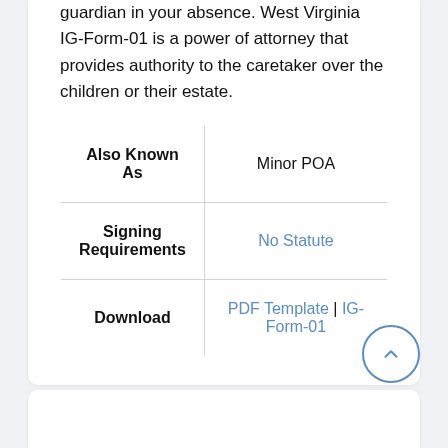guardian in your absence. West Virginia IG-Form-01 is a power of attorney that provides authority to the caretaker over the children or their estate.
| Also Known As | Minor POA |
| --- | --- |
| Signing Requirements | No Statute |
| Download | PDF Template | IG-Form-01 |